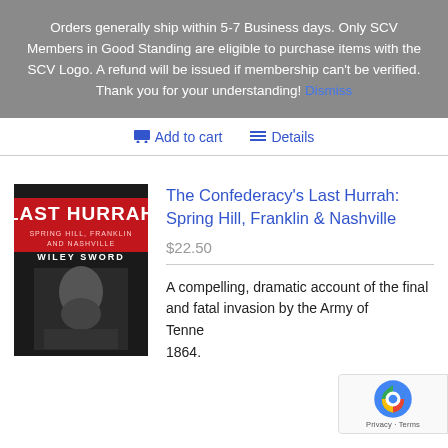Orders generally ship within 5-7 Business days. Only SCV Members in Good Standing are eligible to purchase items with the SCV Logo. A refund will be issued if membership can't be verified. Thank you for your understanding! Dismiss
Add to cart   Details
[Figure (photo): Book cover of 'The Confederacy's Last Hurrah' by Wiley Sword, showing a black and white portrait of a bearded man and red title text]
The Confederacy's Last Hurrah: Spring Hill, Franklin & Nashville
$22.50
A compelling, dramatic account of the final and fatal invasion by the Army of Tennessee in 1864.